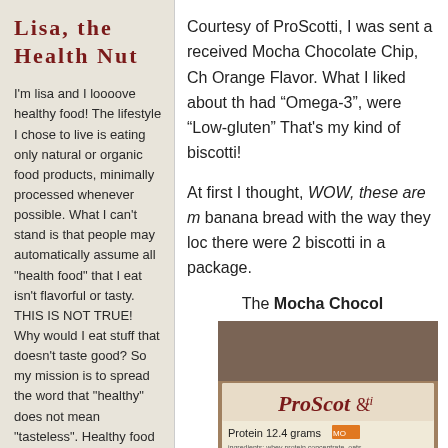Lisa, the Health Nut
I'm lisa and I loooove healthy food!  The lifestyle I chose to live is eating only natural or organic food products, minimally processed whenever possible. What I can't stand is that people may automatically assume all "health food" that I eat isn't flavorful or tasty. THIS IS NOT TRUE! Why would I eat stuff that doesn't taste good?  So my mission is to spread the word that "healthy" does not mean "tasteless". Healthy food can be just as yummy as the not-so healthy types!   I'll let you
Courtesy of ProScotti, I was sent a received Mocha Chocolate Chip, Ch Orange Flavor. What I liked about th had “Omega-3”, were “Low-gluten” That's my kind of biscotti!
At first I thought, WOW, these are m banana bread with the way they loc there were 2 biscotti in a package.
The Mocha Chocol
[Figure (photo): Product photo of ProScotti packaging showing label with text 'Protein 12.4 grams' and ingredients list]